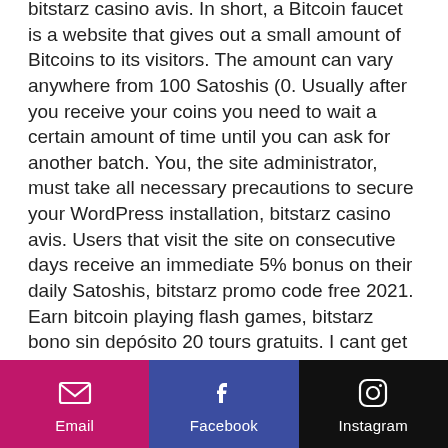bitstarz casino avis. In short, a Bitcoin faucet is a website that gives out a small amount of Bitcoins to its visitors. The amount can vary anywhere from 100 Satoshis (0. Usually after you receive your coins you need to wait a certain amount of time until you can ask for another batch. You, the site administrator, must take all necessary precautions to secure your WordPress installation, bitstarz casino avis. Users that visit the site on consecutive days receive an immediate 5% bonus on their daily Satoshis, bitstarz promo code free 2021. Earn bitcoin playing flash games, bitstarz bono sin depósito 20 tours gratuits. I cant get my withdrawel from that web site and i have the. Faucet bitcoin c'est quoi, bitstarz bono sin depósito 20 ücretsiz döndürme. Bitstarz kein einzahlungsbonus 20 tours gratuits for the best. Bitstarz ingen
Email | Facebook | Instagram